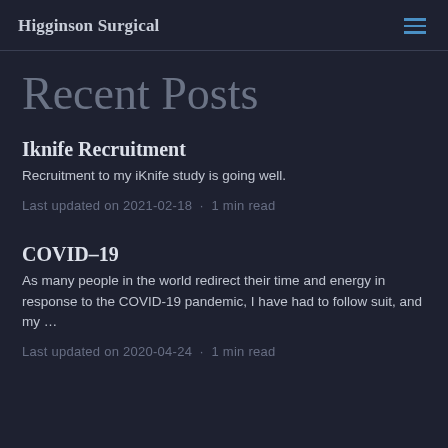Higginson Surgical
Recent Posts
Iknife Recruitment
Recruitment to my iKnife study is going well.
Last updated on 2021-02-18 · 1 min read
COVID-19
As many people in the world redirect their time and energy in response to the COVID-19 pandemic, I have had to follow suit, and my …
Last updated on 2020-04-24 · 1 min read